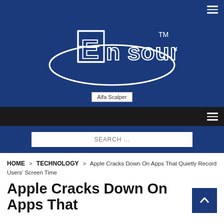[Figure (logo): En Sound logo in white on navy blue background, with TM mark]
[Figure (other): Alfa Scalper advertisement banner placeholder]
SEARCH ...
HOME > TECHNOLOGY > Apple Cracks Down On Apps That Quietly Record Users' Screen Time
Apple Cracks Down On Apps That